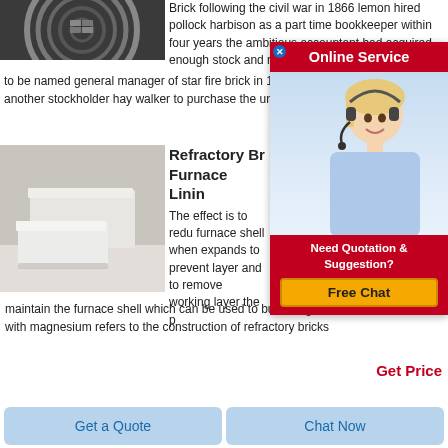[Figure (photo): Photo of refractory bricks inside a circular furnace coil]
Brick following the civil war in 1866 lemon hired pollock harbison as a part time bookkeeper within four years the ambitious accountant had acquired enough stock and refractory expertise to be named general manager of star fire brick in 1875 another stockholder hay walker to purchase the under
[Figure (infographic): Online Service popup with close button, red header bar, female agent with headset, Need Quotation & Suggestion section in red, and Free Chat button in yellow]
[Figure (photo): Photo of white refractory bricks stacked on a table]
Refractory Br Furnace Linin
The effect is to redu furnace shell when expands to prevent layer and to remove working layer the p maintain the furnace shell which can be used to burn magnesia brick tar combined with magnesium refers to the construction of refractory bricks
Get Price
Get a Quote
Chat Now